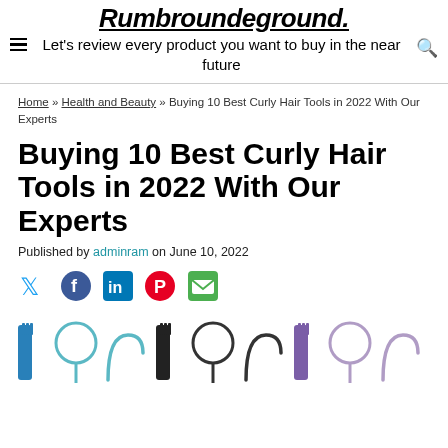Rumbroundeground. Let's review every product you want to buy in the near future
Home » Health and Beauty » Buying 10 Best Curly Hair Tools in 2022 With Our Experts
Buying 10 Best Curly Hair Tools in 2022 With Our Experts
Published by adminram on June 10, 2022
[Figure (illustration): Social sharing icons: Twitter (blue bird), Facebook (blue circle), LinkedIn (blue square), Pinterest (red circle with P), Email (green envelope)]
[Figure (illustration): Row of colorful curly hair tools icons including combs and styling hooks in blue, teal, black, and purple]